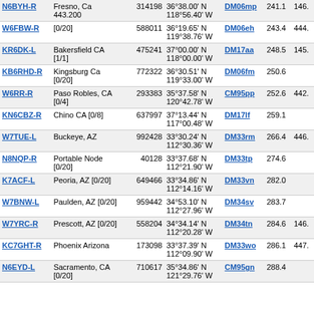| Callsign | Location | ID | Coordinates | Grid | Dist | Freq |
| --- | --- | --- | --- | --- | --- | --- |
| N6BYH-R | Fresno, Ca 443.200 | 314198 | 36°38.00' N 118°56.40' W | DM06mp | 241.1 | 146. |
| W6FBW-R | [0/20] | 588011 | 36°19.65' N 119°38.76' W | DM06eh | 243.4 | 444. |
| KR6DK-L | Bakersfield CA [1/1] | 475241 | 37°00.00' N 118°00.00' W | DM17aa | 248.5 | 145. |
| KB6RHD-R | Kingsburg Ca [0/20] | 772322 | 36°30.51' N 119°33.00' W | DM06fm | 250.6 |  |
| W6RR-R | Paso Robles, CA [0/4] | 293383 | 35°37.58' N 120°42.78' W | CM95pp | 252.6 | 442. |
| KN6CBZ-R | Chino CA [0/8] | 637997 | 37°13.44' N 117°00.48' W | DM17lf | 259.1 |  |
| W7TUE-L | Buckeye, AZ | 992428 | 33°30.24' N 112°30.36' W | DM33rm | 266.4 | 446. |
| N8NQP-R | Portable Node [0/20] | 40128 | 33°37.68' N 112°21.90' W | DM33tp | 274.6 |  |
| K7ACF-L | Peoria, AZ [0/20] | 649466 | 33°34.86' N 112°14.16' W | DM33vn | 282.0 |  |
| W7BNW-L | Paulden, AZ [0/20] | 959442 | 34°53.10' N 112°27.96' W | DM34sv | 283.7 |  |
| W7YRC-R | Prescott, AZ [0/20] | 558204 | 34°34.14' N 112°20.28' W | DM34tn | 284.6 | 146. |
| KC7GHT-R | Phoenix Arizona | 173098 | 33°37.39' N 112°09.90' W | DM33wo | 286.1 | 447. |
| N6EYD-L | Sacramento, CA [0/20] | 710617 | 35°34.86' N 121°29.76' W | CM95gn | 288.4 |  |